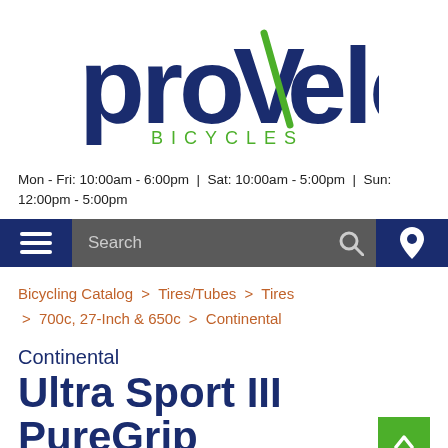[Figure (logo): proVelo Bicycles logo — dark navy stylized text 'proVelo' with green accent on the V, and 'BICYCLES' in green spaced capitals below]
Mon - Fri: 10:00am - 6:00pm  |  Sat: 10:00am - 5:00pm  |  Sun: 12:00pm - 5:00pm
Search
Bicycling Catalog > Tires/Tubes > Tires > 700c, 27-Inch & 650c > Continental
Continental
Ultra Sport III PureGrip